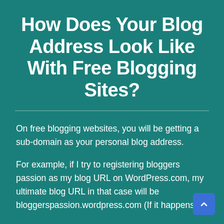How Does Your Blog Address Look Like With Free Blogging Sites?
On free blogging websites, you will be getting a sub-domain as your personal blog address.
For example, if I try to registering bloggers passion as my blog URL on WordPress.com, my ultimate blog URL in that case will be bloggerspassion.wordpress.com (If it happens